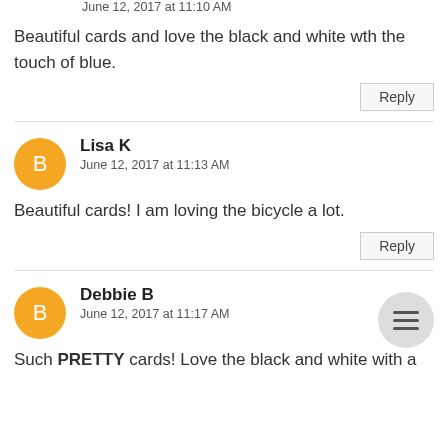June 12, 2017 at 11:10 AM
Beautiful cards and love the black and white wth the touch of blue.
Reply
Lisa K
June 12, 2017 at 11:13 AM
Beautiful cards! I am loving the bicycle a lot.
Reply
Debbie B
June 12, 2017 at 11:17 AM
Such PRETTY cards! Love the black and white with a